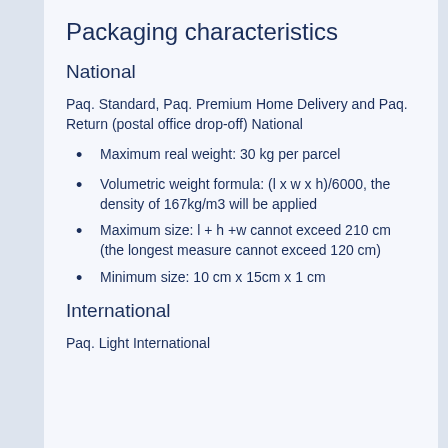Packaging characteristics
National
Paq. Standard, Paq. Premium Home Delivery and Paq. Return (postal office drop-off) National
Maximum real weight: 30 kg per parcel
Volumetric weight formula: (l x w x h)/6000, the density of 167kg/m3 will be applied
Maximum size: l + h +w cannot exceed 210 cm (the longest measure cannot exceed 120 cm)
Minimum size: 10 cm x 15cm x 1 cm
International
Paq. Light International